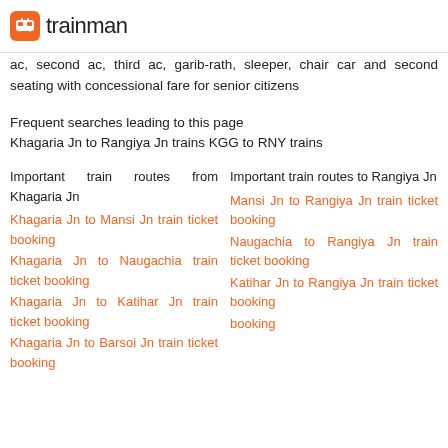trainman
ac, second ac, third ac, garib-rath, sleeper, chair car and second seating with concessional fare for senior citizens
Frequent searches leading to this page
Khagaria Jn to Rangiya Jn trains KGG to RNY trains
Important train routes from Khagaria Jn
Important train routes to Rangiya Jn
Khagaria Jn to Mansi Jn train ticket booking
Mansi Jn to Rangiya Jn train ticket booking
Khagaria Jn to Naugachia train ticket booking
Naugachia to Rangiya Jn train ticket booking
Khagaria Jn to Katihar Jn train ticket booking
Katihar Jn to Rangiya Jn train ticket booking
Khagaria Jn to Barsoi Jn train ticket booking
booking